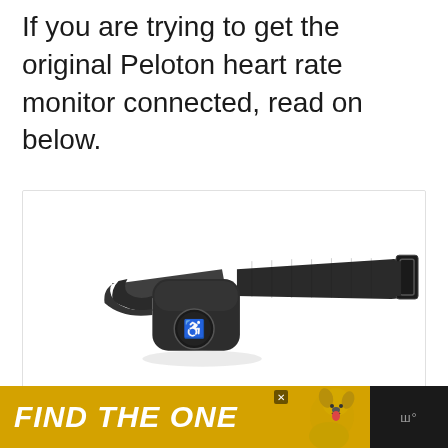If you are trying to get the original Peloton heart rate monitor connected, read on below.
[Figure (photo): Peloton heart rate monitor — a black chest strap device with a black pod featuring the Peloton logo (P symbol) on front, attached to a black elastic fabric strap with a buckle on the right end.]
[Figure (other): Advertisement banner: dark background with yellow section showing 'FIND THE ONE' in bold white italic text, a dog image on the right, an X close button, and a dark right panel with stylized logo.]